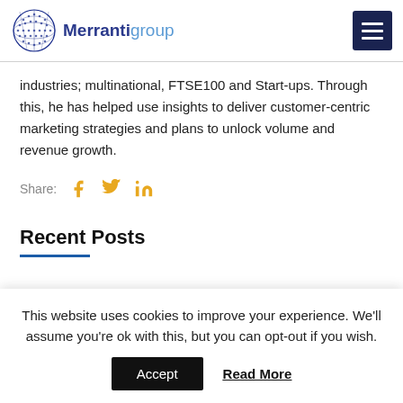Merrantigroup
industries; multinational, FTSE100 and Start-ups. Through this, he has helped use insights to deliver customer-centric marketing strategies and plans to unlock volume and revenue growth.
Share: [facebook] [twitter] [linkedin]
Recent Posts
This website uses cookies to improve your experience. We'll assume you're ok with this, but you can opt-out if you wish.